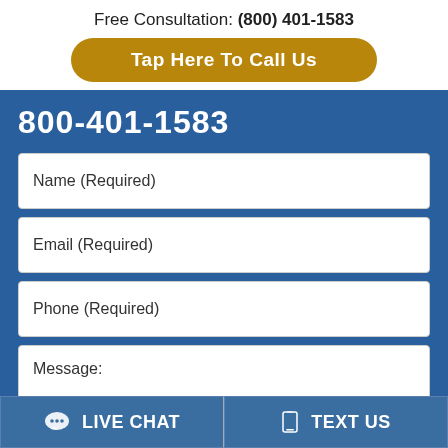Free Consultation: (800) 401-1583
Tap Here To Call Us
800-401-1583
Name (Required)
Email (Required)
Phone (Required)
Message:
LIVE CHAT
TEXT US